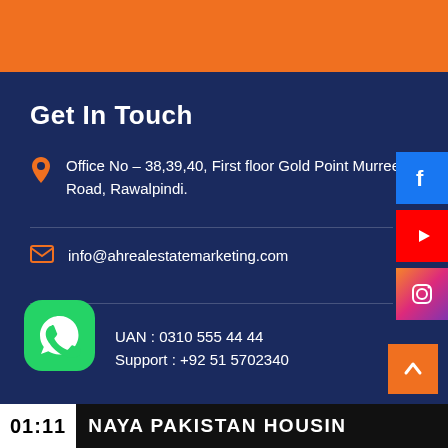[Figure (illustration): Orange header bar at top of page]
Get In Touch
Office No – 38,39,40, First floor Gold Point Murree Road, Rawalpindi.
info@ahrealestatemarketing.com
UAN : 0310 555 44 44
Support : +92 51 5702340
[Figure (logo): Facebook social media icon button (blue)]
[Figure (logo): YouTube social media icon button (red)]
[Figure (logo): Instagram social media icon button (gradient)]
[Figure (logo): WhatsApp icon (green)]
[Figure (illustration): Back to top orange arrow button]
01:11   NAYA PAKISTAN HOUSIN